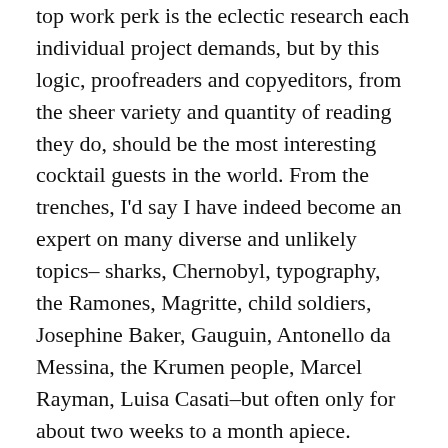top work perk is the eclectic research each individual project demands, but by this logic, proofreaders and copyeditors, from the sheer variety and quantity of reading they do, should be the most interesting cocktail guests in the world. From the trenches, I'd say I have indeed become an expert on many diverse and unlikely topics– sharks, Chernobyl, typography, the Ramones, Magritte, child soldiers, Josephine Baker, Gauguin, Antonello da Messina, the Krumen people, Marcel Rayman, Luisa Casati–but often only for about two weeks to a month apiece. Which has increased my interest in the specialized abilities of serial con men (say, Ferdinand Demara), short-term memory (human RAM), and the different levels of comprehension, appreciation, and retention afforded by different kinds of reading. This is something I've love to be pointed to research on, since many thoroughly knowledgeable translators calling